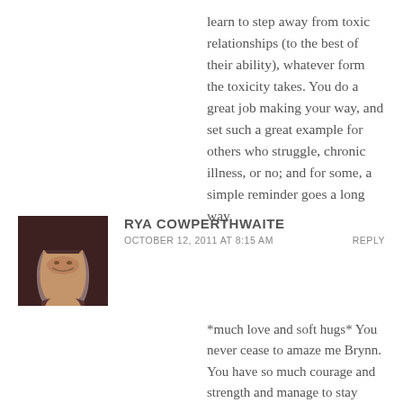learn to step away from toxic relationships (to the best of their ability), whatever form the toxicity takes. You do a great job making your way, and set such a great example for others who struggle, chronic illness, or no; and for some, a simple reminder goes a long way.
[Figure (photo): Avatar photo of a woman with dark hair looking downward]
RYA COWPERTHWAITE
OCTOBER 12, 2011 AT 8:15 AM
REPLY
*much love and soft hugs* You never cease to amaze me Brynn. You have so much courage and strength and manage to stay positive (as much as you can) when others wouldn't even try. As cliche as it sounds you really are an inspiration. <3 Hope to see you soon.